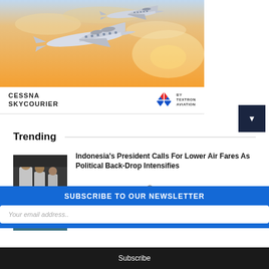[Figure (photo): Advertisement banner for Cessna SkyCourier aircraft by Textron Aviation showing two turboprop planes flying at sunset/dusk with orange sky background]
Trending
[Figure (photo): Thumbnail photo of Indonesian president with people in background, black and white/dark tones]
Indonesia's President Calls For Lower Air Fares As Political Back-Drop Intensifies
Staff Writer, 20 Aug 2022 | 3 min
[Figure (photo): Partial thumbnail of second news article, teal/blue tones]
SUBSCRIBE TO OUR NEWSLETTER
Your email address..
Subscribe